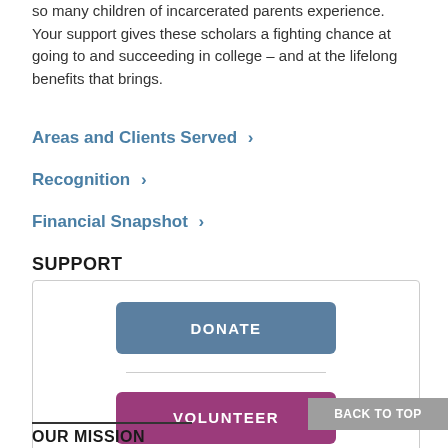so many children of incarcerated parents experience. Your support gives these scholars a fighting chance at going to and succeeding in college – and at the lifelong benefits that brings.
Areas and Clients Served >
Recognition >
Financial Snapshot >
SUPPORT
DONATE
VOLUNTEER
BACK TO TOP
OUR MISSION